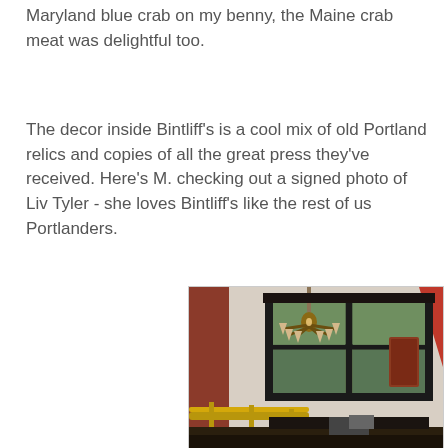Maryland blue crab on my benny, the Maine crab meat was delightful too.
The decor inside Bintliff's is a cool mix of old Portland relics and copies of all the great press they've received. Here's M. checking out a signed photo of Liv Tyler - she loves Bintliff's like the rest of us Portlanders.
[Figure (photo): Interior photo of Bintliff's restaurant showing a chandelier with candle-style lights hanging in front of large black-framed windows, a brass railing in the foreground, and decorative framed items on the wall. The space has an old Portland ambiance with warm lighting.]